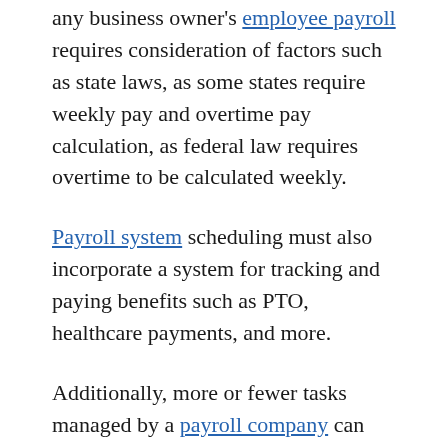any business owner's employee payroll requires consideration of factors such as state laws, as some states require weekly pay and overtime pay calculation, as federal law requires overtime to be calculated weekly.
Payroll system scheduling must also incorporate a system for tracking and paying benefits such as PTO, healthcare payments, and more.
Additionally, more or fewer tasks managed by a payroll company can affect the cost to the business owner.